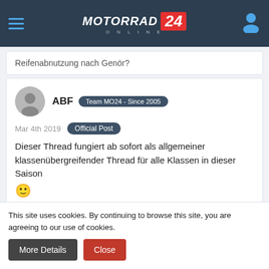MOTORRAD ONLINE 24
Reifenabnutzung nach Genör?
ABF  Team MO24 - Since 2005
Mar 4th 2019  Official Post
Dieser Thread fungiert ab sofort als allgemeiner klassenübergreifender Thread für alle Klassen in dieser Saison 🙂
zxcd  Master
Mar 4th 2019
Hab ich den Thread mit den Weissagungen 2019 übersehen oder
This site uses cookies. By continuing to browse this site, you are agreeing to our use of cookies.